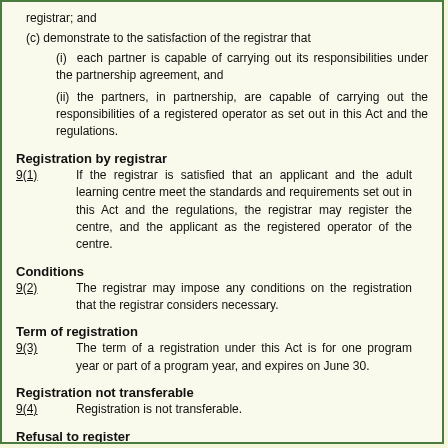registrar; and
(c) demonstrate to the satisfaction of the registrar that
(i) each partner is capable of carrying out its responsibilities under the partnership agreement, and
(ii) the partners, in partnership, are capable of carrying out the responsibilities of a registered operator as set out in this Act and the regulations.
Registration by registrar
9(1)	If the registrar is satisfied that an applicant and the adult learning centre meet the standards and requirements set out in this Act and the regulations, the registrar may register the centre, and the applicant as the registered operator of the centre.
Conditions
9(2)	The registrar may impose any conditions on the registration that the registrar considers necessary.
Term of registration
9(3)	The term of a registration under this Act is for one program year or part of a program year, and expires on June 30.
Registration not transferable
9(4)	Registration is not transferable.
Refusal to register